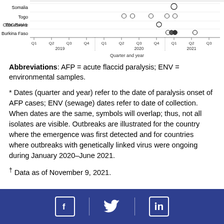[Figure (other): Partial bottom of a scatter/dot plot chart showing countries (Somalia, Togo, Côte d'Ivoire, Burkina Faso) with TOG-SAV-1 label, quarter and year axis from Q1 2019 to Q3 2021.]
Abbreviations: AFP = acute flaccid paralysis; ENV = environmental samples.
* Dates (quarter and year) refer to the date of paralysis onset of AFP cases; ENV (sewage) dates refer to date of collection. When dates are the same, symbols will overlap; thus, not all isolates are visible. Outbreaks are illustrated for the country where the emergence was first detected and for countries where outbreaks with genetically linked virus were ongoing during January 2020–June 2021.
† Data as of November 9, 2021.
[Figure (other): Footer bar with Facebook, Twitter, and LinkedIn social media icons in white on dark blue background.]